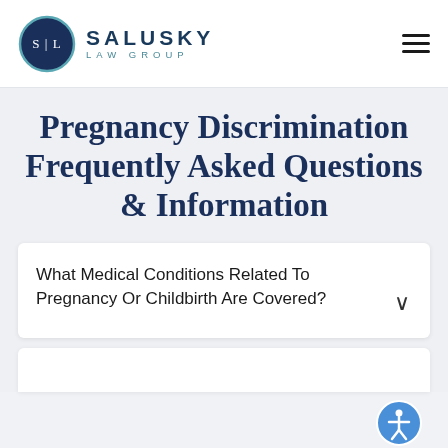[Figure (logo): Salusky Law Group logo: circular dark navy emblem with S|L initials, followed by SALUSKY LAW GROUP text in navy/teal]
Pregnancy Discrimination Frequently Asked Questions & Information
What Medical Conditions Related To Pregnancy Or Childbirth Are Covered?